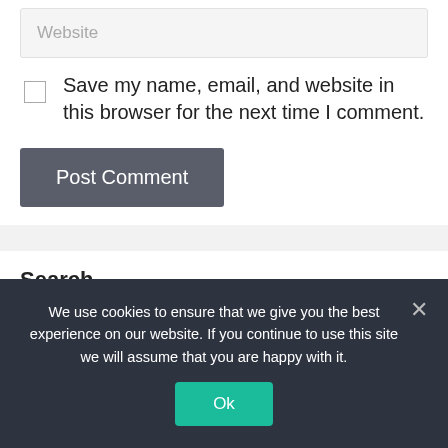Website
Save my name, email, and website in this browser for the next time I comment.
Post Comment
Search
Search
We use cookies to ensure that we give you the best experience on our website. If you continue to use this site we will assume that you are happy with it.
Ok